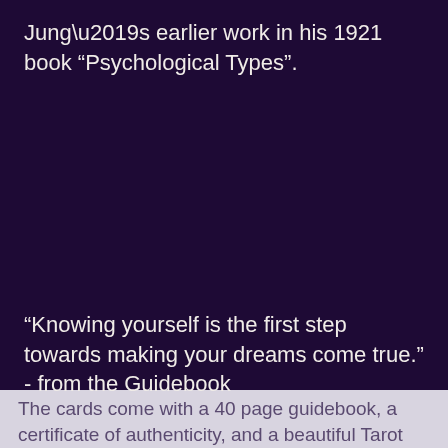Jung’s earlier work in his 1921 book “Psychological Types”.
“Knowing yourself is the first step towards making your dreams come true.” - from the Guidebook
The cards come with a 40 page guidebook, a certificate of authenticity, and a beautiful Tarot b...